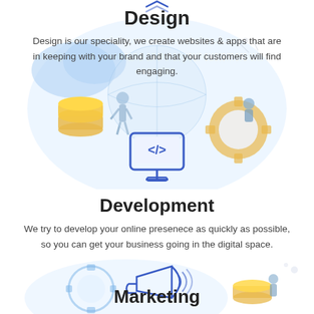Design
[Figure (illustration): Digital design illustration with people, coins, globe, and gear shapes in blue and yellow tones, with a monitor showing code brackets in center]
Design is our speciality, we create websites & apps that are in keeping with your brand and that your customers will find engaging.
Development
We try to develop your online presenece as quickly as possible, so you can get your business going in the digital space.
[Figure (illustration): Marketing illustration with megaphone/loudspeaker icon in blue outline, people and gears in background with blue and yellow tones]
Marketing